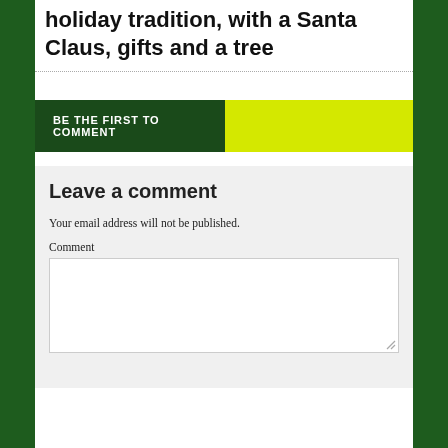holiday tradition, with a Santa Claus, gifts and a tree
[Figure (other): Two-color button: dark green section with white uppercase text 'BE THE FIRST TO COMMENT' and yellow-green section]
Leave a comment
Your email address will not be published.
Comment
[Figure (other): Comment text input area (empty textarea with resize handle)]